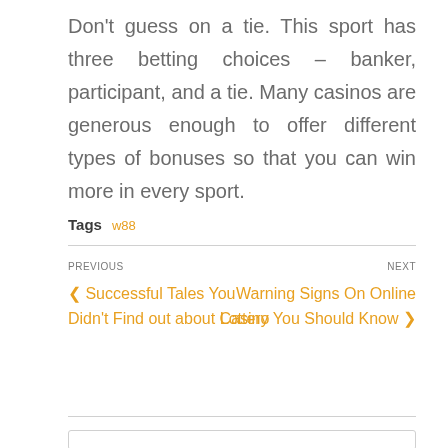Don't guess on a tie. This sport has three betting choices – banker, participant, and a tie. Many casinos are generous enough to offer different types of bonuses so that you can win more in every sport.
Tags  w88
PREVIOUS
NEXT
⮜ Successful Tales You Didn't Find out about Casino
Warning Signs On Online Lottery You Should Know ⮞